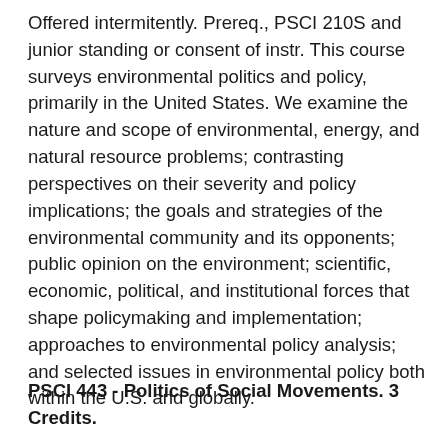Offered intermitently. Prereq., PSCI 210S and junior standing or consent of instr. This course surveys environmental politics and policy, primarily in the United States. We examine the nature and scope of environmental, energy, and natural resource problems; contrasting perspectives on their severity and policy implications; the goals and strategies of the environmental community and its opponents; public opinion on the environment; scientific, economic, political, and institutional forces that shape policymaking and implementation; approaches to environmental policy analysis; and selected issues in environmental policy both within the U.S. and globally.
PSCI 443 - Politics of Social Movements. 3 Credits.